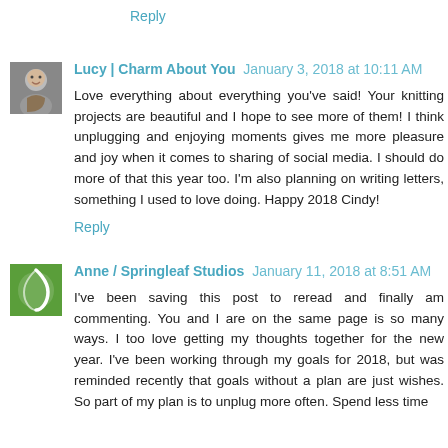Reply
Lucy | Charm About You  January 3, 2018 at 10:11 AM
Love everything about everything you've said! Your knitting projects are beautiful and I hope to see more of them! I think unplugging and enjoying moments gives me more pleasure and joy when it comes to sharing of social media. I should do more of that this year too. I'm also planning on writing letters, something I used to love doing. Happy 2018 Cindy!
Reply
Anne / Springleaf Studios  January 11, 2018 at 8:51 AM
I've been saving this post to reread and finally am commenting. You and I are on the same page is so many ways. I too love getting my thoughts together for the new year. I've been working through my goals for 2018, but was reminded recently that goals without a plan are just wishes. So part of my plan is to unplug more often. Spend less time